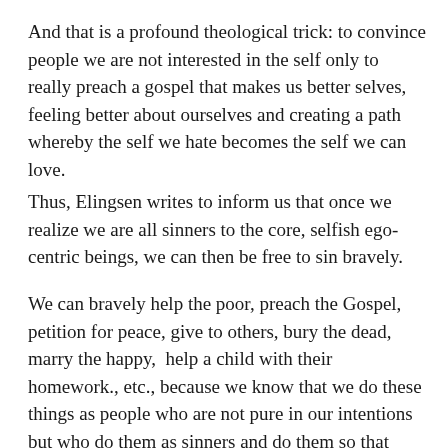And that is a profound theological trick: to convince people we are not interested in the self only to really preach a gospel that makes us better selves, feeling better about ourselves and creating a path whereby the self we hate becomes the self we can love.
Thus, Elingsen writes to inform us that once we realize we are all sinners to the core, selfish ego-centric beings, we can then be free to sin bravely.
We can bravely help the poor, preach the Gospel, petition for peace, give to others, bury the dead,  marry the happy,  help a child with their homework., etc., because we know that we do these things as people who are not pure in our intentions but who do them as sinners and do them so that God can turn our actions into something greater